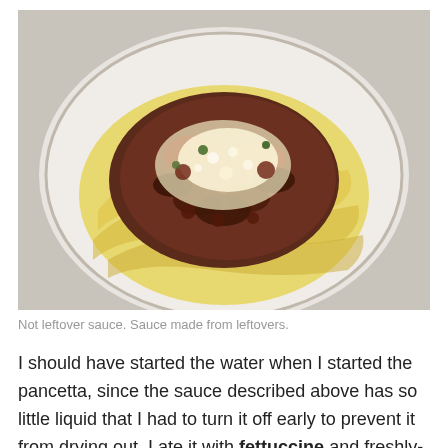[Figure (photo): A white plate of fettuccine pasta topped with a meat bolognese sauce made from leftovers, garnished with freshly grated cheese.]
Not leftover sauce. Sauce made from leftovers.
I should have started the water when I started the pancetta, since the sauce described above has so little liquid that I had to turn it off early to prevent it from drying out. I ate it with fettuccine and freshly-grated-yesterday